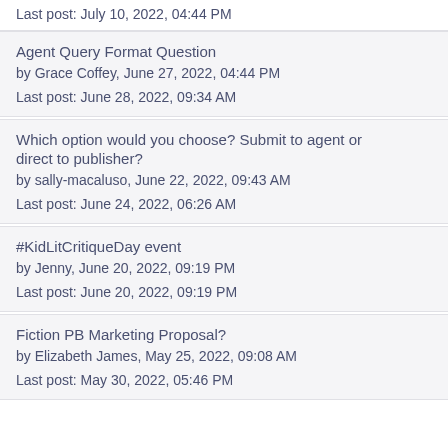Last post: July 10, 2022, 04:44 PM
Agent Query Format Question
by Grace Coffey, June 27, 2022, 04:44 PM

Last post: June 28, 2022, 09:34 AM
Which option would you choose? Submit to agent or direct to publisher?
by sally-macaluso, June 22, 2022, 09:43 AM

Last post: June 24, 2022, 06:26 AM
#KidLitCritiqueDay event
by Jenny, June 20, 2022, 09:19 PM

Last post: June 20, 2022, 09:19 PM
Fiction PB Marketing Proposal?
by Elizabeth James, May 25, 2022, 09:08 AM

Last post: May 30, 2022, 05:46 PM